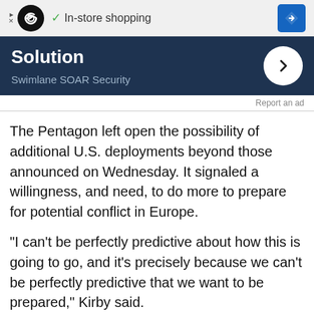[Figure (screenshot): Advertisement banner: black circle logo with infinity symbol, checkmark, 'In-store shopping' text, blue diamond arrow icon on gray background]
[Figure (screenshot): Dark navy advertisement block with bold white text 'Solution', subtitle 'Swimlane SOAR Security', and white circular arrow button on right]
Report an ad
The Pentagon left open the possibility of additional U.S. deployments beyond those announced on Wednesday. It signaled a willingness, and need, to do more to prepare for potential conflict in Europe.
"I can't be perfectly predictive about how this is going to go, and it's precisely because we can't be perfectly predictive that we want to be prepared," Kirby said.
Th[Feedback]U.S. troops notified of ready-to-deploy or[Feedback]ook included additional brigade combat